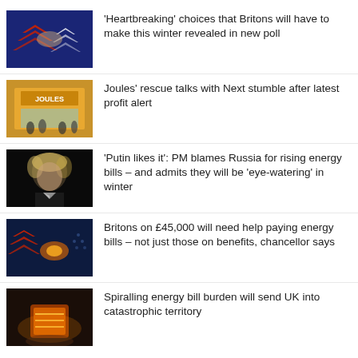[Figure (photo): Dark blue background with red and white chevron arrow graphics and a hand holding something]
'Heartbreaking' choices that Britons will have to make this winter revealed in new poll
[Figure (photo): Shop front with golden signage and people outside]
Joules' rescue talks with Next stumble after latest profit alert
[Figure (photo): Boris Johnson in dark suit, dark background]
'Putin likes it': PM blames Russia for rising energy bills – and admits they will be 'eye-watering' in winter
[Figure (photo): Dark background with hand glowing, arrow chevrons and energy graphics]
Britons on £45,000 will need help paying energy bills – not just those on benefits, chancellor says
[Figure (photo): Person near a portable heater with warm orange glow]
Spiralling energy bill burden will send UK into catastrophic territory